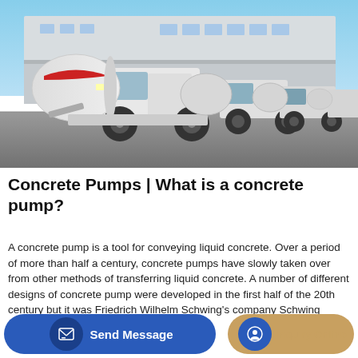[Figure (photo): A row of white concrete mixer trucks parked in a yard in front of a large industrial building under a clear blue sky. The nearest truck has a visible red stripe on its mixing drum.]
Concrete Pumps | What is a concrete pump?
A concrete pump is a tool for conveying liquid concrete. Over a period of more than half a century, concrete pumps have slowly taken over from other methods of transferring liquid concrete. A number of different designs of concrete pump were developed in the first half of the 20th century but it was Friedrich Wilhelm Schwing's company Schwing